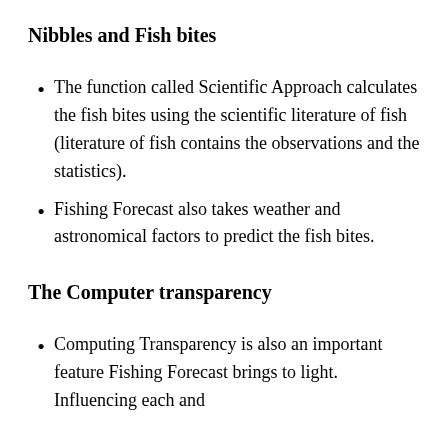Nibbles and Fish bites
The function called Scientific Approach calculates the fish bites using the scientific literature of fish (literature of fish contains the observations and the statistics).
Fishing Forecast also takes weather and astronomical factors to predict the fish bites.
The Computer transparency
Computing Transparency is also an important feature Fishing Forecast brings to light. Influencing each and